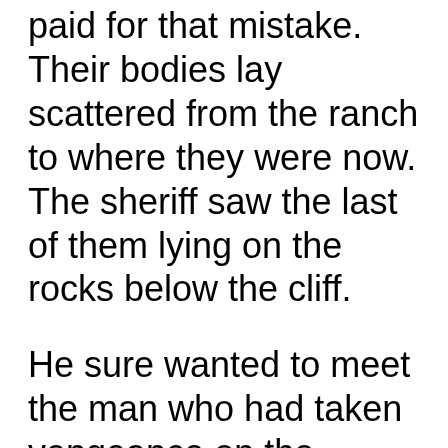paid for that mistake. Their bodies lay scattered from the ranch to where they were now. The sheriff saw the last of them lying on the rocks below the cliff.
He sure wanted to meet the man who had taken vengeance on the cowards that attacked him and the ranch he worked for. This was a man to ride the river with, a man who rode for the brand.